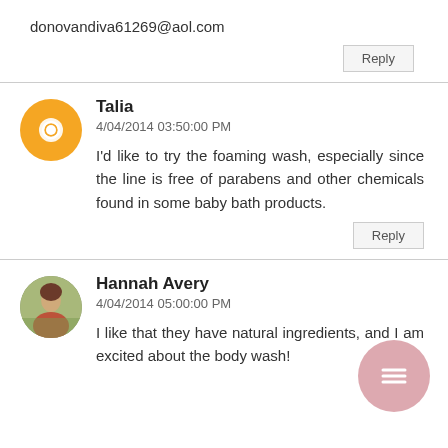donovandiva61269@aol.com
Reply
Talia
4/04/2014 03:50:00 PM
I'd like to try the foaming wash, especially since the line is free of parabens and other chemicals found in some baby bath products.
Reply
Hannah Avery
4/04/2014 05:00:00 PM
I like that they have natural ingredients, and I am excited about the body wash!